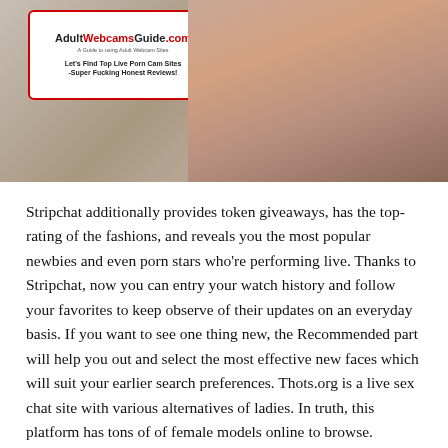[Figure (photo): Photo of a woman in red lingerie posing, with an AdultWebcamsGuide.com logo overlay in the upper left corner. Logo reads 'AdultWebcamsGuide.com - A Guide to using Adult Webcam Sites' and 'Let's Find Top Live Porn Cam Sites -Super Fucking Honest Reviews!']
Stripchat additionally provides token giveaways, has the top-rating of the fashions, and reveals you the most popular newbies and even porn stars who're performing live. Thanks to Stripchat, now you can entry your watch history and follow your favorites to keep observe of their updates on an everyday basis. If you want to see one thing new, the Recommended part will help you out and select the most effective new faces which will suit your earlier search preferences. Thots.org is a live sex chat site with various alternatives of ladies. In truth, this platform has tons of of female models online to browse.